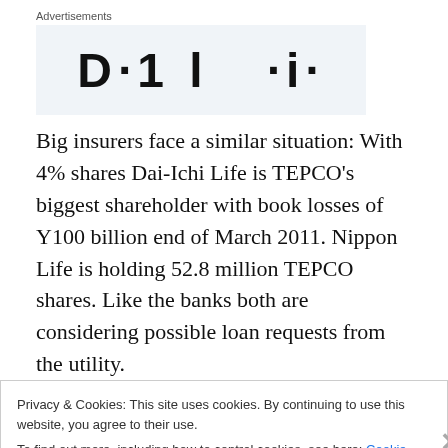Advertisements
[Figure (other): Advertisement banner placeholder with large bold text partially visible]
Big insurers face a similar situation: With 4% shares Dai-Ichi Life is TEPCO's biggest shareholder with book losses of Y100 billion end of March 2011. Nippon Life is holding 52.8 million TEPCO shares. Like the banks both are considering possible loan requests from the utility.
Privacy & Cookies: This site uses cookies. By continuing to use this website, you agree to their use.
To find out more, including how to control cookies, see here: Cookie Policy
Close and accept